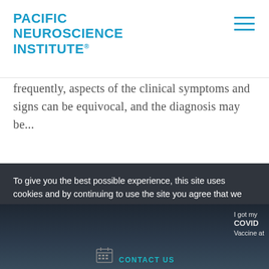PACIFIC NEUROSCIENCE INSTITUTE®
frequently, aspects of the clinical symptoms and signs can be equivocal, and the diagnosis may be...
To give you the best possible experience, this site uses cookies and by continuing to use the site you agree that we can save them on your device.
CONTINUE
CONTACT US
I got my COVID Vaccine at